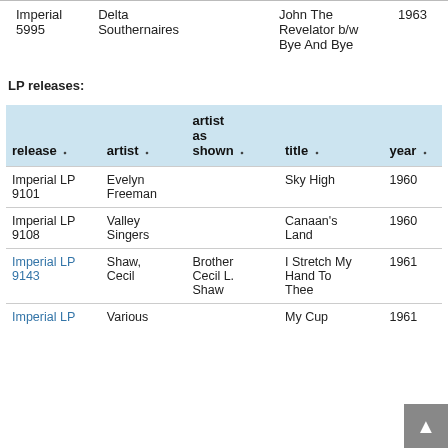| release | artist | artist as shown | title | year |
| --- | --- | --- | --- | --- |
| Imperial 5995 | Delta Southernaires |  | John The Revelator b/w Bye And Bye | 1963 |
LP releases:
| release | artist | artist as shown | title | year |
| --- | --- | --- | --- | --- |
| Imperial LP 9101 | Evelyn Freeman |  | Sky High | 1960 |
| Imperial LP 9108 | Valley Singers |  | Canaan's Land | 1960 |
| Imperial LP 9143 | Shaw, Cecil | Brother Cecil L. Shaw | I Stretch My Hand To Thee | 1961 |
| Imperial LP | Various |  | My Cup | 1961 |